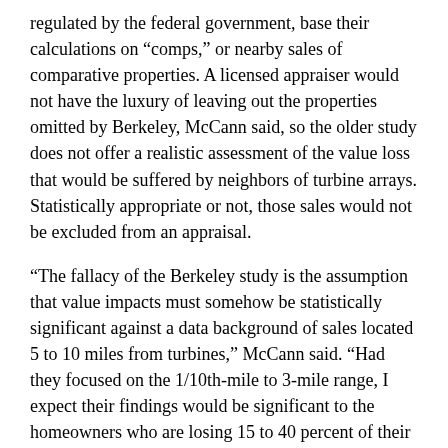regulated by the federal government, base their calculations on “comps,” or nearby sales of comparative properties. A licensed appraiser would not have the luxury of leaving out the properties omitted by Berkeley, McCann said, so the older study does not offer a realistic assessment of the value loss that would be suffered by neighbors of turbine arrays. Statistically appropriate or not, those sales would not be excluded from an appraisal.
“The fallacy of the Berkeley study is the assumption that value impacts must somehow be statistically significant against a data background of sales located 5 to 10 miles from turbines,” McCann said. “Had they focused on the 1/10th-mile to 3-mile range, I expect their findings would be significant to the homeowners who are losing 15 to 40 percent of their home equity and value.”
Neither of the studies consider time-on-market, McCann said, adding, “And what about the homes that don’t sell at all?” The latter do not show up on studies because there are no transaction records for them.